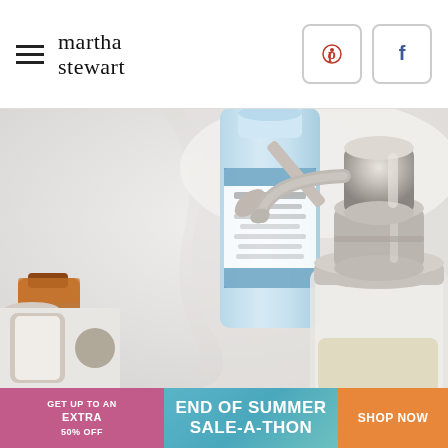martha stewart
[Figure (photo): Close-up photo of a silver/chrome pump soap dispenser in the foreground, with a Dr. Bronner's baby castile soap bottle (blue label) in the background, on a white cloth surface. A small amber dropper bottle and a floral-decorated container are partially visible on the left side.]
[Figure (photo): Partial thumbnail of a product image at the bottom left.]
GET UP TO AN EXTRA 50% OFF END OF SUMMER SALE-A-THON SHOP NOW